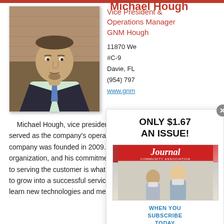Michael Hough
[Figure (photo): Professional headshot of Michael Hough, a man in a dark suit and patterned tie, against a wooden background]
Vice President & Operations Manager
GNM Hough
11870 We...
#C-9
Davie, FL...
(954) 797...
www.gnm...
Michael Hough, vice president of served as the company's operations company was founded in 2009. He i organization, and his commitment, h to serving the customer is what has to grow into a successful service bus learn new technologies and mentor the field personnel
[Figure (other): Subscription popup: ONLY $1.67 AN ISSUE! with magazine cover image and SUBSCRIBE button]